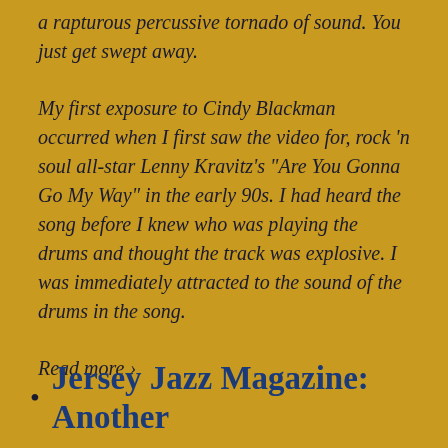a rapturous percussive tornado of sound. You just get swept away.
My first exposure to Cindy Blackman occurred when I first saw the video for, rock 'n soul all-star Lenny Kravitz's "Are You Gonna Go My Way" in the early 90s. I had heard the song before I knew who was playing the drums and thought the track was explosive. I was immediately attracted to the sound of the drums in the song.
Read more ›
Jersey Jazz Magazine: Another